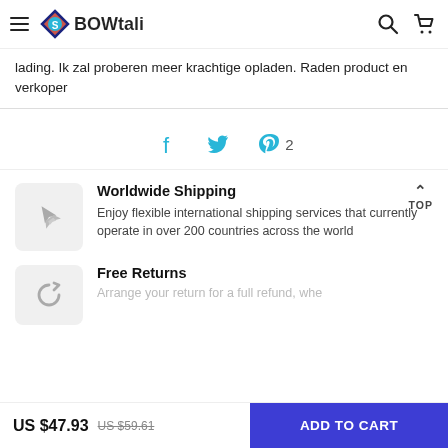BOWtali
lading. Ik zal proberen meer krachtige opladen. Raden product en verkoper
[Figure (other): Social sharing icons: Facebook, Twitter, Pinterest with count 2]
Worldwide Shipping
Enjoy flexible international shipping services that currently operate in over 200 countries across the world
Free Returns
Arrange your return for a full refund, whe...
US $47.93  US $59.61  ADD TO CART